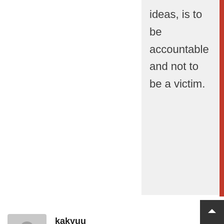ideas, is to be accountable and not to be a victim.
[Figure (illustration): Grey circular user avatar placeholder icon]
kakyuu
November 21, 2014 at 12:22 pm · Reply
as a woman honestly playing the submissive role is fine, glad to make my